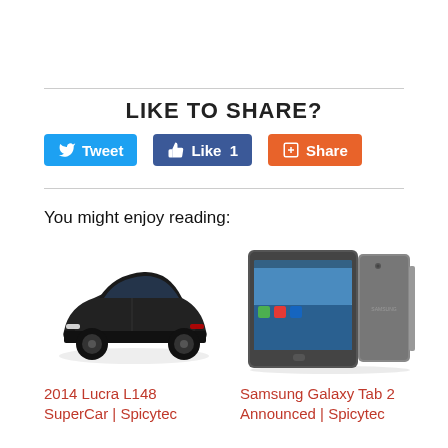LIKE TO SHARE?
[Figure (screenshot): Three social sharing buttons: Tweet (blue, Twitter bird icon), Like 1 (dark blue, thumbs up icon), Share (orange, Google+ icon)]
You might enjoy reading:
[Figure (photo): Black sports car (2014 Lucra L148 SuperCar) on white background]
2014 Lucra L148 SuperCar | Spicytec
[Figure (photo): Samsung Galaxy Tab 2 shown from front and back on white background]
Samsung Galaxy Tab 2 Announced | Spicytec